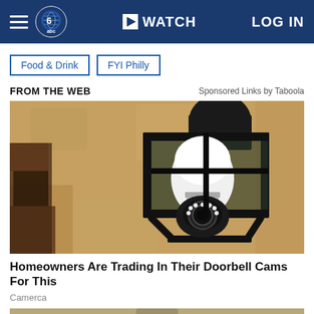WATCH | LOG IN
Food & Drink
FYI Philly
FROM THE WEB
Sponsored Links by Taboola
[Figure (photo): A camera shaped like a light bulb installed inside a dark metal outdoor wall lantern fixture mounted on a textured stucco wall.]
Homeowners Are Trading In Their Doorbell Cams For This
Camerca
[Figure (photo): Partially visible image at bottom of page showing another product or scene, appears to be a ceiling fan or similar fixture.]